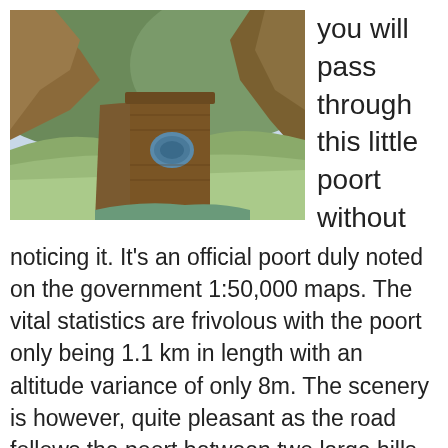[Figure (photo): Photograph of a dam wall with greenish water in foreground, rocky hills and cliffs in background, blue sky]
you will pass through this little poort without noticing it. It's an official poort duly noted on the government 1:50,000 maps. The vital statistics are frivolous with the poort only being 1.1 km in length with an altitude variance of only 8m. The scenery is however, quite pleasant as the road follows the poort between two large hills - both comprising sandstone formations typical of the area.
The region offers wonderful tourism